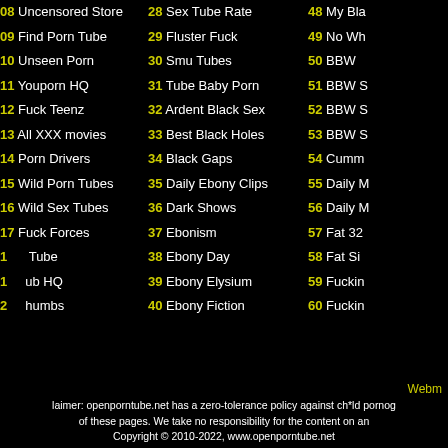08 Uncensored Store
09 Find Porn Tube
10 Unseen Porn
11 Youporn HQ
12 Fuck Teenz
13 All XXX movies
14 Porn Drivers
15 Wild Porn Tubes
16 Wild Sex Tubes
17 Fuck Forces
18 [Fuck] Tube
19 [Club] HQ
20 [Thumbs]
28 Sex Tube Rate
29 Fluster Fuck
30 Smu Tubes
31 Tube Baby Porn
32 Ardent Black Sex
33 Best Black Holes
34 Black Gaps
35 Daily Ebony Clips
36 Dark Shows
37 Ebonism
38 Ebony Day
39 Ebony Elysium
40 Ebony Fiction
48 My Bla...
49 No Wh...
50 BBW ...
51 BBW S...
52 BBW S...
53 BBW S...
54 Cumm...
55 Daily M...
56 Daily M...
57 Fat 32...
58 Fat Si...
59 Fuckin...
60 Fuckin...
[Figure (infographic): Social sharing widget with Facebook, Twitter, Stumbleupon, and Add (red cross) buttons stacked vertically]
Webm... Disclaimer: openporntube.net has a zero-tolerance policy against ch*ld pornog... of these pages. We take no responsibility for the content on an... Copyright © 2010-2022, www.openporntube.net